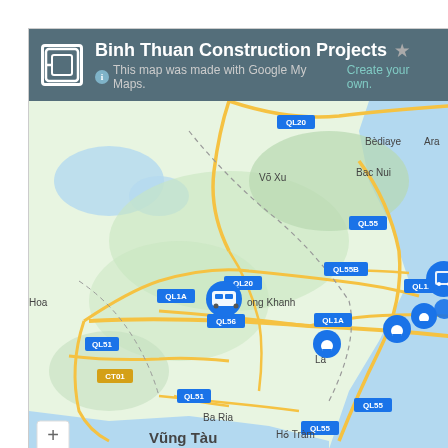[Figure (map): Google My Maps screenshot showing 'Binh Thuan Construction Projects' map of southeastern Vietnam, including roads labeled QL20, QL55, QL55B, QL1A, QL56, QL51, CT01, cities/towns including Vo Xu, Bac Nui, Bediaye, Long Khanh, Hoa, La, Ba Ria, Ho Tram, Vung Tau, and several blue location pin markers along the eastern coast. Map header shows title and 'This map was made with Google My Maps. Create your own.' subtitle.]